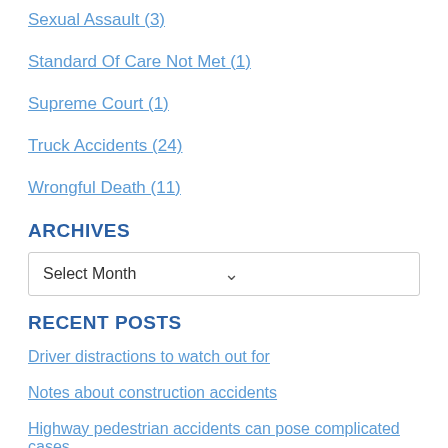Sexual Assault (3)
Standard Of Care Not Met (1)
Supreme Court (1)
Truck Accidents (24)
Wrongful Death (11)
ARCHIVES
Select Month
RECENT POSTS
Driver distractions to watch out for
Notes about construction accidents
Highway pedestrian accidents can pose complicated cases
OSHA rules for workplace safety on construction sites
What are common symptoms of asbestos exposure?